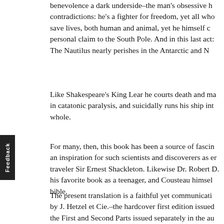benevolence a dark underside–the man's obsessive contradictions: he's a fighter for freedom, yet all who save lives, both human and animal, yet he himself c personal claim to the South Pole. And in this last act The Nautilus nearly perishes in the Antarctic and N
Like Shakespeare's King Lear he courts death and ma in catatonic paralysis, and suicidally runs his ship int whole.
For many, then, this book has been a source of fascin an inspiration for such scientists and discoverers as er traveler Sir Ernest Shackleton. Likewise Dr. Robert D his favorite book as a teenager, and Cousteau himsel bible.
The present translation is a faithful yet communicati by J. Hetzel et Cie.–the hardcover first edition issued the First and Second Parts issued separately in the au English versions have often been heavily abridged, t detail.